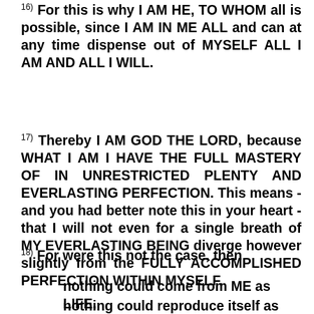16) For this is why I AM HE, TO WHOM all is possible, since I AM IN ME ALL and can at any time dispense out of MYSELF ALL I AM AND ALL I WILL.
17) Thereby I AM GOD THE LORD, because WHAT I AM I HAVE THE FULL MASTERY OF IN UNRESTRICTED PLENTY AND EVERLASTING PERFECTION. This means - and you had better note this in your heart - that I will not even for a single breath of MY EVERLASTING BEING diverge however slightly from the FULLY ACCOMPLISHED PERFECTION WITHIN MYSELF.
18) For were this not the case, then
nothing could come from ME as LIFE,
nothing could reproduce itself as LIFE,